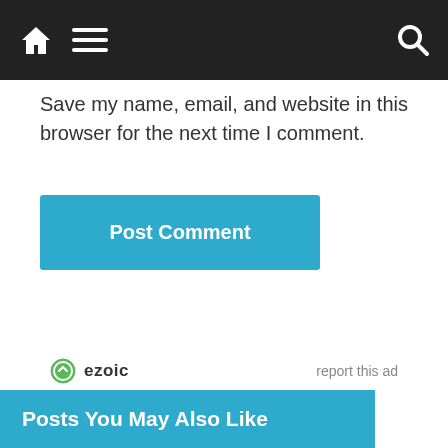Navigation bar with home, menu, and search icons
Save my name, email, and website in this browser for the next time I comment.
Post Comment
[Figure (logo): Ezoic logo with green circle icon and bold text 'ezoic']
report this ad
Posts You May Also Like
Posts You May Also Like